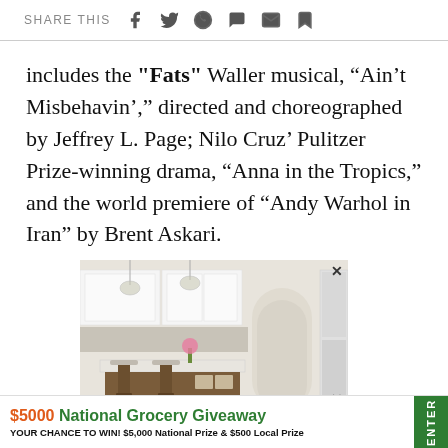SHARE THIS [social icons: facebook, twitter, whatsapp, chat, email, bookmark]
includes the "Fats" Waller musical, “Ain’t Misbehavin’,” directed and choreographed by Jeffrey L. Page; Nilo Cruz’ Pulitzer Prize-winning drama, “Anna in the Tropics,” and the world premiere of “Andy Warhol in Iran” by Brent Askari.
[Figure (photo): Kitchen interior advertisement showing white cabinetry, kitchen island with bar stools, pendant lights, and stainless steel appliances]
[Figure (infographic): $5000 National Grocery Giveaway banner ad. Text: YOUR CHANCE TO WIN! $5,000 National Prize & $500 Local Prize. Green ENTER button on the right.]